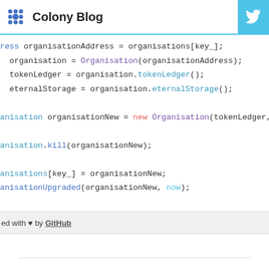Colony Blog
[Figure (screenshot): Code snippet showing Solidity/JavaScript code with organisation address assignment, Organisation construction, tokenLedger, eternalStorage, organisationNew creation, kill call, organisations key assignment, and OrganisationUpgraded event emission.]
ed with ♥ by GitHub